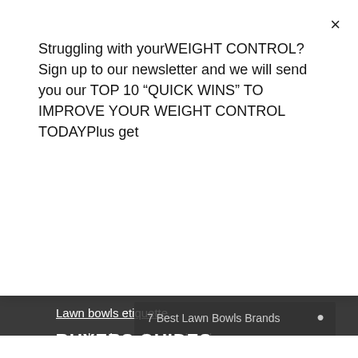Struggling with yourWEIGHT CONTROL?Sign up to our newsletter and we will send you our TOP 10 “QUICK WINS” TO IMPROVE YOUR WEIGHT CONTROL TODAYPlus get
Subscribe
×
Lawn bowls etiquette
Lawn bowls reading the head
FAQ
7 Best Lawn Bowls Brands
No compatible source was found for this media.
BUYERS GUIDES
[Figure (photo): Ad strip with images: lawn bowls, wreath, wooden ring, and brand logo for The Land]
▷ ×